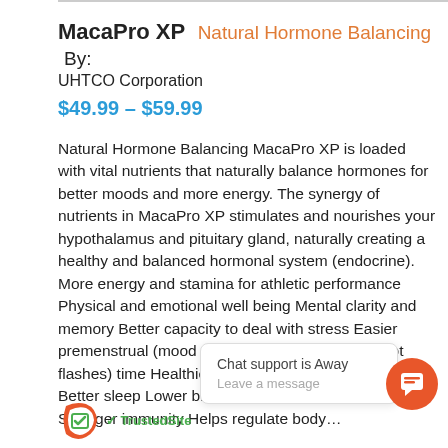MacaPro XP  Natural Hormone Balancing  By:
UHTCO Corporation
$49.99 – $59.99
Natural Hormone Balancing MacaPro XP is loaded with vital nutrients that naturally balance hormones for better moods and more energy. The synergy of nutrients in MacaPro XP stimulates and nourishes your hypothalamus and pituitary gland, naturally creating a healthy and balanced hormonal system (endocrine). More energy and stamina for athletic performance Physical and emotional well being Mental clarity and memory Better capacity to deal with stress Easier premenstrual (mood swings) and menopausal (hot flashes) time Healthier fertility, and improved libido Better sleep Lower blood pressure and cholesterol Stronger immunity Helps regulate body…
Chat support is Away
Leave a message
[Figure (logo): TrustedSite logo with green checkmark and orange S-curl]